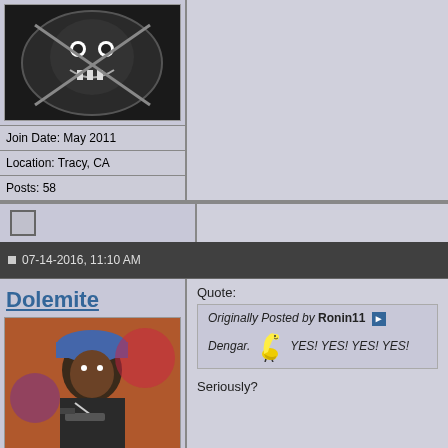[Figure (photo): User avatar: dark shield emblem with monster face and weapons]
Join Date: May 2011
Location: Tracy, CA
Posts: 58
07-14-2016, 11:10 AM
Dolemite
[Figure (photo): User avatar photo: man in blue hat holding a gun]
Join Date: Nov 2014
Posts: 3,614
Quote:
Originally Posted by Ronin11
Dengar.  YES! YES! YES! YES!
Seriously?